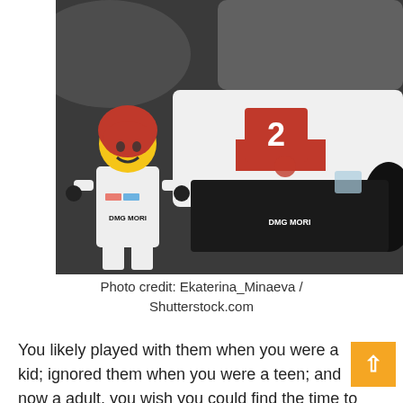[Figure (photo): A LEGO minifigure wearing a red helmet and a white racing suit with 'DMG MORI' printed on it, standing in front of a LEGO Porsche racing car model (number 2) with a black and white color scheme and red accents. Dark blurred background.]
Photo credit: Ekaterina_Minaeva / Shutterstock.com
You likely played with them when you were a kid; ignored them when you were a teen; and now as an adult, you wish you could find the time to build them. Nowadays, LEGO sets are enjoyed by people